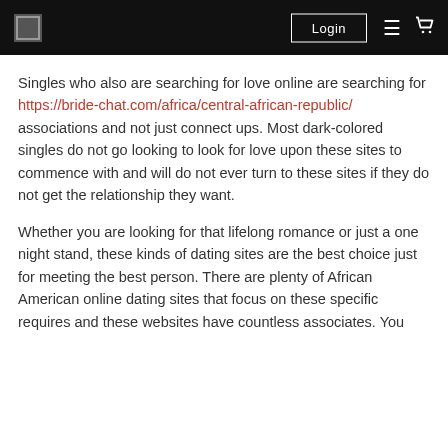Login [navigation bar with logo, login button, hamburger menu, cart icon]
Singles who also are searching for love online are searching for https://bride-chat.com/africa/central-african-republic/ associations and not just connect ups. Most dark-colored singles do not go looking to look for love upon these sites to commence with and will do not ever turn to these sites if they do not get the relationship they want.
Whether you are looking for that lifelong romance or just a one night stand, these kinds of dating sites are the best choice just for meeting the best person. There are plenty of African American online dating sites that focus on these specific requires and these websites have countless associates. You